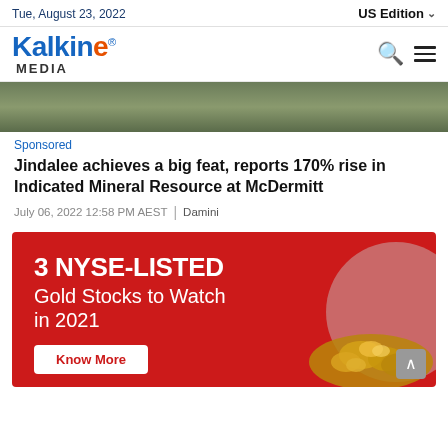Tue, August 23, 2022 | US Edition
[Figure (logo): Kalkine Media logo with blue and orange lettering]
[Figure (photo): Outdoor landscape image, partial view at top of article]
Sponsored
Jindalee achieves a big feat, reports 170% rise in Indicated Mineral Resource at McDermitt
July 06, 2022 12:58 PM AEST | Damini
[Figure (infographic): Advertisement: 3 NYSE-LISTED Gold Stocks to Watch in 2021. Red background with white text, Know More button, gold nuggets image.]